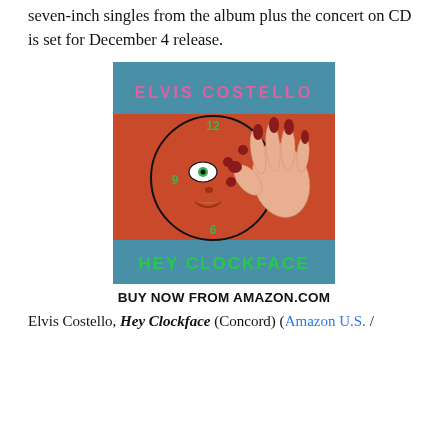seven-inch singles from the album plus the concert on CD is set for December 4 release.
[Figure (illustration): Album cover for Elvis Costello's 'Hey Clockface' on Concord. Blue top band with pink text 'ELVIS COSTELLO', orange/red center section with an illustrated clock-face (a circle with a face drawn on it—one green eye, nose, lips, clock hands at 12, 6, and 9) with a hand reaching over it with red-painted nails, and a blue bottom band with green text 'HEY CLOCKFACE'.]
BUY NOW FROM AMAZON.COM
Elvis Costello, Hey Clockface (Concord) (Amazon U.S. /